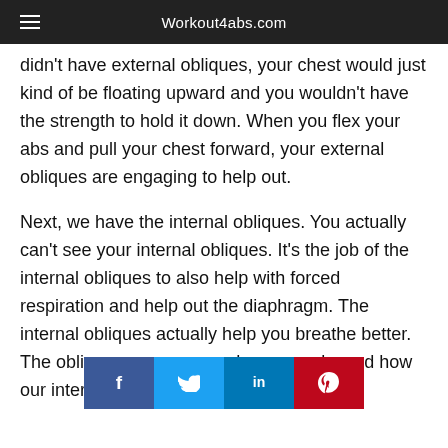Workout4abs.com
didn't have external obliques, your chest would just kind of be floating upward and you wouldn't have the strength to hold it down. When you flex your abs and pull your chest forward, your external obliques are engaging to help out.
Next, we have the internal obliques. You actually can't see your internal obliques. It's the job of the internal obliques to also help with forced respiration and help out the diaphragm. The internal obliques actually help you breathe better. The obliques p[...] aphragm works and how our internal cavity is held
[Figure (infographic): Social media sharing bar with Facebook, Twitter, LinkedIn, and Pinterest buttons]